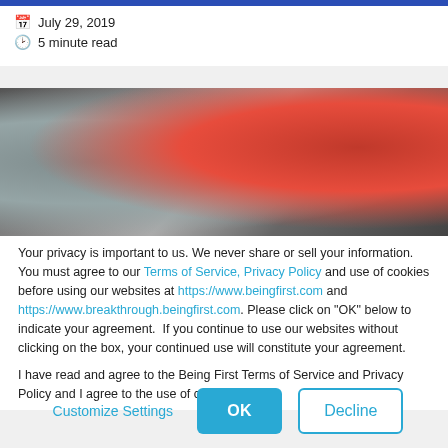July 29, 2019
5 minute read
[Figure (photo): Close-up photo of a person's hand gripping a barbell or railing, with a red and blue blurred background]
Your privacy is important to us. We never share or sell your information. You must agree to our Terms of Service, Privacy Policy and use of cookies before using our websites at https://www.beingfirst.com and https://www.breakthrough.beingfirst.com. Please click on "OK" below to indicate your agreement.  If you continue to use our websites without clicking on the box, your continued use will constitute your agreement.
I have read and agree to the Being First Terms of Service and Privacy Policy and I agree to the use of cookies.